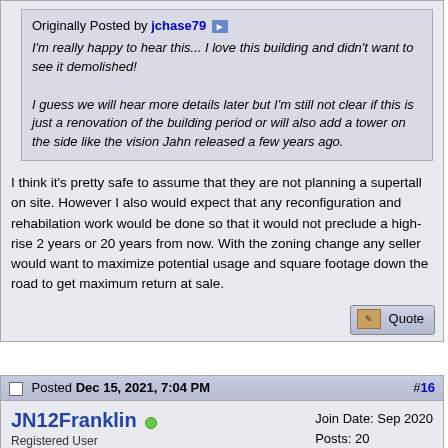Originally Posted by jchase79
I'm really happy to hear this... I love this building and didn't want to see it demolished!

I guess we will hear more details later but I'm still not clear if this is just a renovation of the building period or will also add a tower on the side like the vision Jahn released a few years ago.
I think it's pretty safe to assume that they are not planning a supertall on site. However I also would expect that any reconfiguration and rehabilation work would be done so that it would not preclude a high-rise 2 years or 20 years from now. With the zoning change any seller would want to maximize potential usage and square footage down the road to get maximum return at sale.
Posted Dec 15, 2021, 7:04 PM
#16
JN12Franklin
Registered User
Join Date: Sep 2020
Posts: 20
Wow. Very happy with this. Pritzker continues to impress me.

Looking forward to seeing some better images of those renderings.